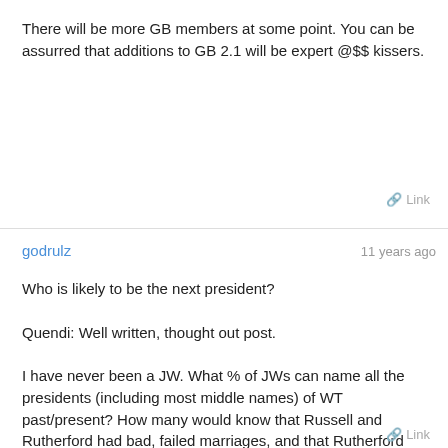There will be more GB members at some point. You can be assurred that additions to GB 2.1 will be expert @$$ kissers.
Link
godrulz   11 years ago
Who is likely to be the next president?

Quendi: Well written, thought out post.

I have never been a JW. What % of JWs can name all the presidents (including most middle names) of WT past/present? How many would know that Russell and Rutherford had bad, failed marriages, and that Rutherford (who set much of modern JW belief/practice) was an alcoholic and poor Bible exegete?
Link